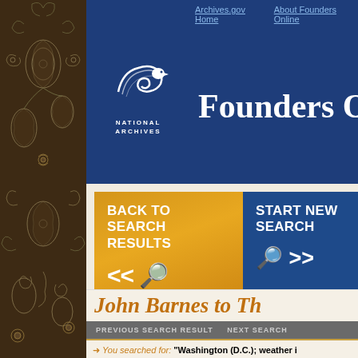[Figure (illustration): Dark brown panel with cream/white floral and paisley decorative pattern on the left side of the page]
[Figure (logo): National Archives eagle/wave logo with text NATIONAL ARCHIVES on dark blue background]
Archives.gov Home   About Founders Online
Founders Online
BACK TO SEARCH RESULTS
START NEW SEARCH
PREVIOUS SEARCH RESULT   NEXT SEARCH
You searched for: "Washington (D.C.); weather i... AND Recipient="Jefferson, Thomas" sorted by: recipient
Permanent link for this document: https://founders.archives.gov/documents/Jefferson/03-
John Barnes to Th Jefferson, 6 July 18